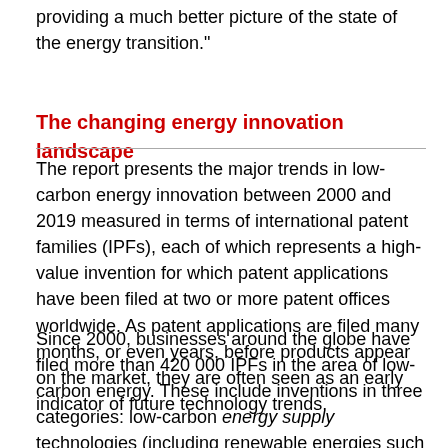providing a much better picture of the state of the energy transition."
The changing energy innovation landscape
The report presents the major trends in low-carbon energy innovation between 2000 and 2019 measured in terms of international patent families (IPFs), each of which represents a high-value invention for which patent applications have been filed at two or more patent offices worldwide. As patent applications are filed many months, or even years, before products appear on the market, they are often seen as an early indicator of future technology trends.
Since 2000, businesses around the globe have filed more than 420 000 IPFs in the area of low-carbon energy. These include inventions in three categories: low-carbon energy supply technologies (including renewable energies such as solar, wind, geothermal or hydroelectric); technologies that facilitate more efficient use of energy or fuel-switching (e.g. to low-